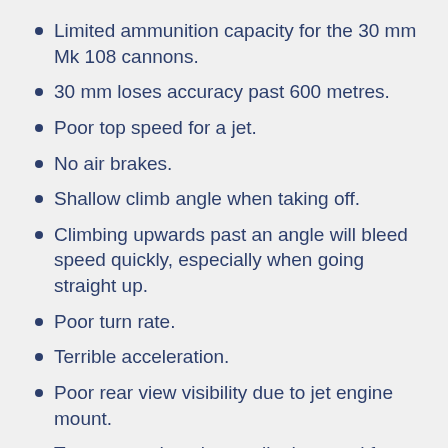Limited ammunition capacity for the 30 mm Mk 108 cannons.
30 mm loses accuracy past 600 metres.
Poor top speed for a jet.
No air brakes.
Shallow climb angle when taking off.
Climbing upwards past an angle will bleed speed quickly, especially when going straight up.
Poor turn rate.
Terrible acceleration.
Poor rear view visibility due to jet engine mount.
Top mounted engine easily damaged from enemy shots coming from above or from overshooting the fuselage body.
Long take off distance (not easy to take off in maps with short runways).